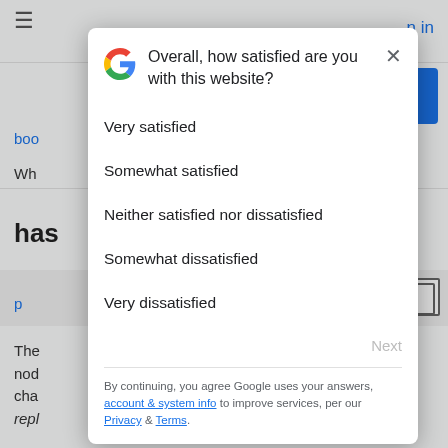[Figure (screenshot): Background of a Google website page with navigation elements, partially visible behind a modal dialog]
Overall, how satisfied are you with this website?
Very satisfied
Somewhat satisfied
Neither satisfied nor dissatisfied
Somewhat dissatisfied
Very dissatisfied
Next
By continuing, you agree Google uses your answers, account & system info to improve services, per our Privacy & Terms.